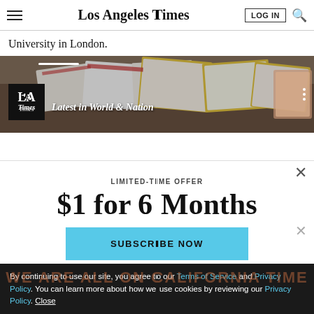Los Angeles Times — LOG IN [search]
University in London.
[Figure (photo): Photo of papers/documents on a table with yellow-bordered cards, with LA Times logo overlay and text 'Latest in World & Nation']
LIMITED-TIME OFFER
$1 for 6 Months
SUBSCRIBE NOW
By continuing to use our site, you agree to our Terms of Service and Privacy Policy. You can learn more about how we use cookies by reviewing our Privacy Policy. Close